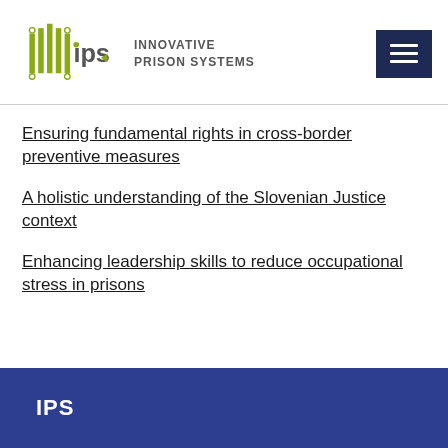[Figure (logo): IPS Innovative Prison Systems logo with stylized bar/circuit graphic in olive green and dark grey, with text INNOVATIVE PRISON SYSTEMS]
Ensuring fundamental rights in cross-border preventive measures
A holistic understanding of the Slovenian Justice context
Enhancing leadership skills to reduce occupational stress in prisons
IPS